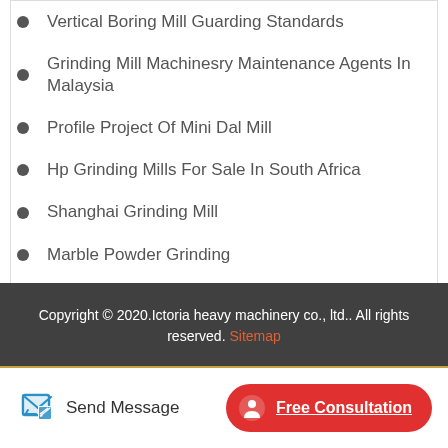Vertical Boring Mill Guarding Standards
Grinding Mill Machinesry Maintenance Agents In Malaysia
Profile Project Of Mini Dal Mill
Hp Grinding Mills For Sale In South Africa
Shanghai Grinding Mill
Marble Powder Grinding
Harga Machine Grinding Baru
Copyright © 2020.Ictoria heavy machinery co., ltd.. All rights reserved. Sitemap
Send Message
Free Consultation